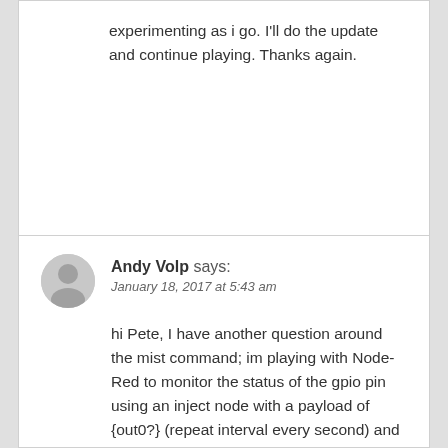experimenting as i go. I'll do the update and continue playing. Thanks again.
Andy Volp says: January 18, 2017 at 5:43 am
hi Pete, I have another question around the mist command; im playing with Node-Red to monitor the status of the gpio pin using an inject node with a payload of {out0?} (repeat interval every second) and debug the return message from the esp, that all works fine. When I send a mist command to the esp (either using